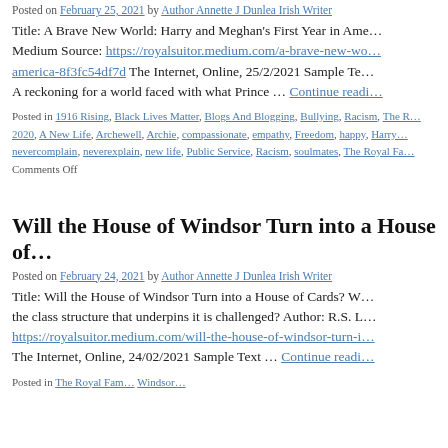Posted on February 25, 2021 by Author Annette J Dunlea Irish Writer
Title: A Brave New World: Harry and Meghan’s First Year in Ame… Medium Source: https://royalsuitor.medium.com/a-brave-new-wo…america-8f3fc54df7d The Internet, Online, 25/2/2021 Sample Te… A reckoning for a world faced with what Prince … Continue readi…
Posted in 1916 Rising, Black Lives Matter, Blogs And Blogging, Bullying, Racism, The R… 2020, A New Life, Archewell, Archie, compassionate, empathy, Freedom, happy, Harry… nevercomplain, neverexplain, new life, Public Service, Racism, soulmates, The Royal Fa…
Comments Off
Will the House of Windsor Turn into a House of…
Posted on February 24, 2021 by Author Annette J Dunlea Irish Writer
Title: Will the House of Windsor Turn into a House of Cards? W… the class structure that underpins it is challenged? Author: R.S. L… https://royalsuitor.medium.com/will-the-house-of-windsor-turn-i… The Internet, Online, 24/02/2021 Sample Text … Continue readi…
Posted in…